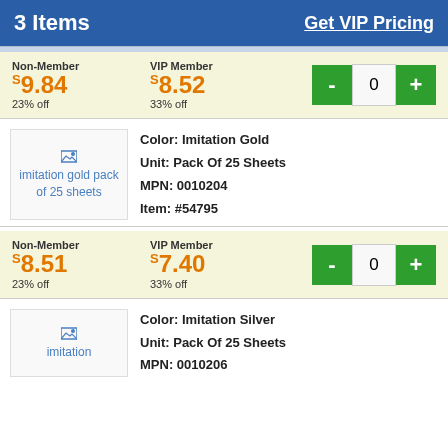3 Items
Get VIP Pricing
Non-Member $9.84 23% off   VIP Member $8.52 33% off
[Figure (other): Quantity selector with minus and plus buttons showing 0]
Color: Imitation Gold
Unit: Pack Of 25 Sheets
MPN: 0010204
Item: #54795
[Figure (photo): imitation gold pack of 25 sheets product image]
Non-Member $8.51 23% off   VIP Member $7.40 33% off
[Figure (other): Quantity selector with minus and plus buttons showing 0]
Color: Imitation Silver
Unit: Pack Of 25 Sheets
MPN: 0010206
[Figure (photo): imitation silver product image]